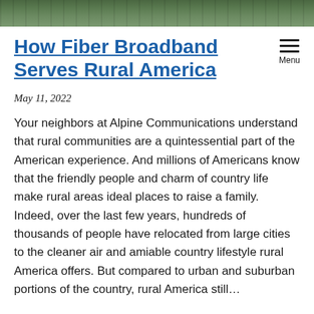[Figure (photo): Green rural landscape photo banner at the top of the page]
How Fiber Broadband Serves Rural America
May 11, 2022
Your neighbors at Alpine Communications understand that rural communities are a quintessential part of the American experience. And millions of Americans know that the friendly people and charm of country life make rural areas ideal places to raise a family. Indeed, over the last few years, hundreds of thousands of people have relocated from large cities to the cleaner air and amiable country lifestyle rural America offers. But compared to urban and suburban portions of the country, rural America still…